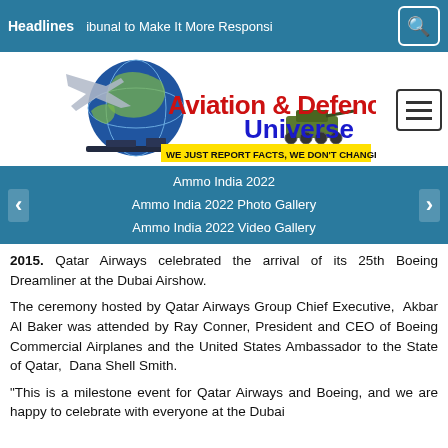Headlines | ibunal to Make It More Responsi
[Figure (logo): Aviation & Defence Universe logo with globe, aircraft, ships, and tank. Tagline: WE JUST REPORT FACTS, WE DON'T CHANGE THEM]
Ammo India 2022
Ammo India 2022 Photo Gallery
Ammo India 2022 Video Gallery
2015. Qatar Airways celebrated the arrival of its 25th Boeing Dreamliner at the Dubai Airshow.
The ceremony hosted by Qatar Airways Group Chief Executive, Akbar Al Baker was attended by Ray Conner, President and CEO of Boeing Commercial Airplanes and the United States Ambassador to the State of Qatar, Dana Shell Smith.
“This is a milestone event for Qatar Airways and Boeing, and we are happy to celebrate with everyone at the Dubai